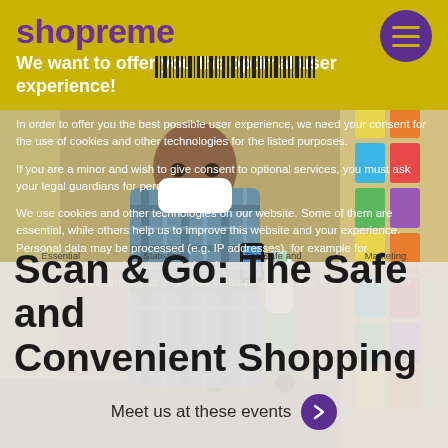shopreme
[Figure (screenshot): Website screenshot showing shopreme grocery shopping app page with cookie consent overlay. Background shows a man wearing a mask scanning a product in a grocery store. Yellow header bar with shopreme logo in purple, purple circular hamburger menu icon. Cookie consent dialog overlaid on the photo asking for user consent. Bottom section shows partial headline text 'Scan & Go: The Safe and Convenient Shopping' with 'Meet us at these events' button.]
We want to offer you the optimal user experience!
In order to offer you the best possible user experience, we need your consent for the use of cookies and other technologies for the listed purposes.
If you are a minor and wish to give consent to optional services, you must ask your legal guardians for permission.
We use cookies and other technologies on our website. Some of them are essential, while others help us to improve this website and your experience. Personal data may be processed (e.g. IP addresses), for example for personalized ads and content or ad and content measurement. You can find more information about the use of your data in our privacy policy. You can revoke or
Essential  Statistics  The Safe and  Marketing
Scan & Go: The Safe and Convenient Shopping
Meet us at these events →